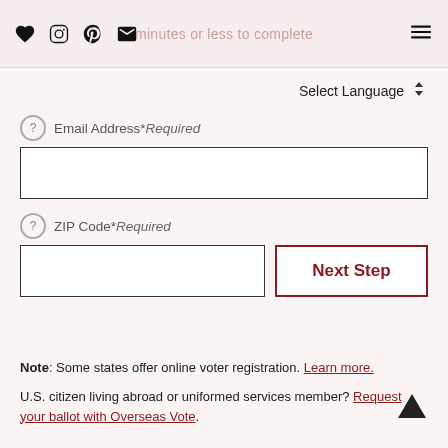minutes or less to complete
Select Language
Email Address* Required
ZIP Code* Required
Next Step
Note: Some states offer online voter registration. Learn more.
U.S. citizen living abroad or uniformed services member? Request your ballot with Overseas Vote.